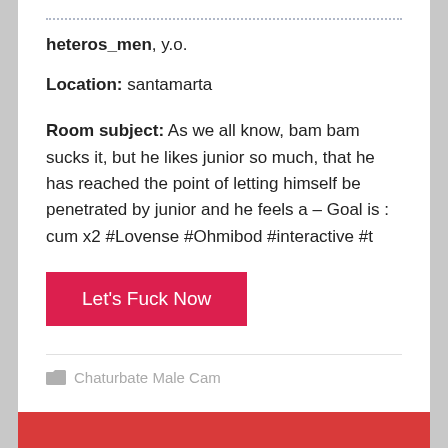heteros_men, y.o.
Location: santamarta
Room subject: As we all know, bam bam sucks it, but he likes junior so much, that he has reached the point of letting himself be penetrated by junior and he feels a – Goal is : cum x2 #Lovense #Ohmibod #interactive #t
Let's Fuck Now
Chaturbate Male Cam